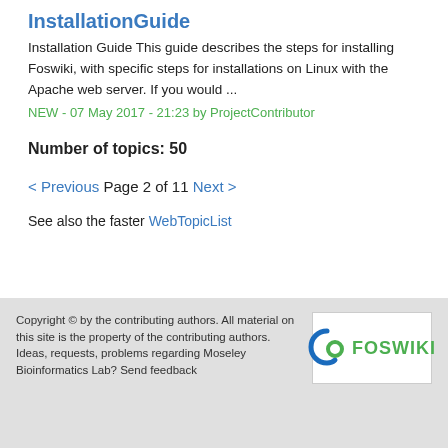InstallationGuide
Installation Guide This guide describes the steps for installing Foswiki, with specific steps for installations on Linux with the Apache web server. If you would ...
NEW - 07 May 2017 - 21:23 by ProjectContributor
Number of topics: 50
< Previous Page 2 of 11 Next >
See also the faster WebTopicList
Copyright © by the contributing authors. All material on this site is the property of the contributing authors. Ideas, requests, problems regarding Moseley Bioinformatics Lab? Send feedback